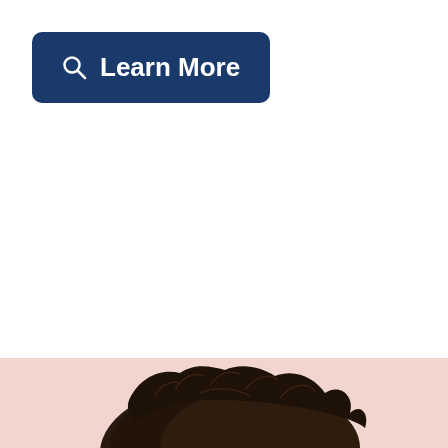[Figure (other): Dark navy blue rounded rectangle button with a magnifying glass search icon on the left and white bold text reading 'Learn More']
[Figure (photo): Bottom portion of a person's head showing dark brown hair against a light pinkish-white background, cropped at the bottom edge of the page]